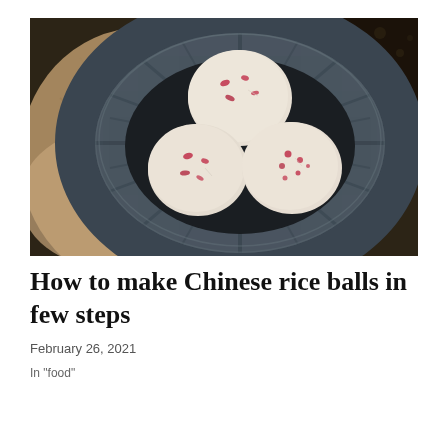[Figure (photo): Overhead view of three white rice balls with red flower petal decorations resting in a dark blue-grey striped ceramic bowl, placed on a beige linen cloth with a dark floral fabric in the corner]
How to make Chinese rice balls in few steps
February 26, 2021
In "food"